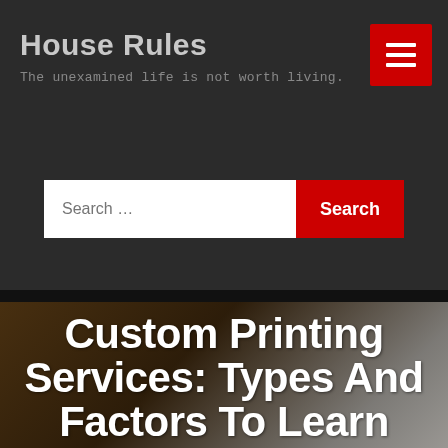House Rules
The unexamined life is not worth living.
[Figure (screenshot): Red menu hamburger button with three white horizontal lines on red background]
[Figure (screenshot): Search bar with white input field showing 'Search ...' placeholder and red Search button]
Custom Printing Services: Types And Factors To Learn